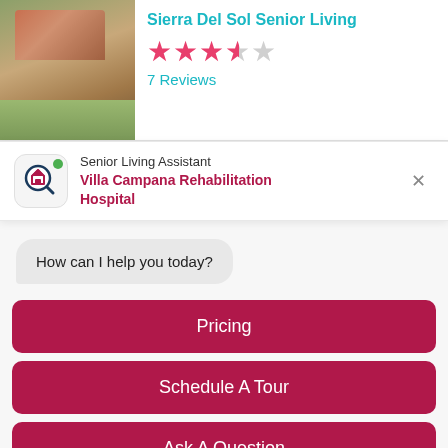[Figure (photo): Photo of Sierra Del Sol Senior Living facility exterior showing landscaped grounds with desert plants]
Sierra Del Sol Senior Living
7 Reviews
Senior Living Assistant
Villa Campana Rehabilitation Hospital
How can I help you today?
Pricing
Schedule A Tour
Ask A Question
Show More